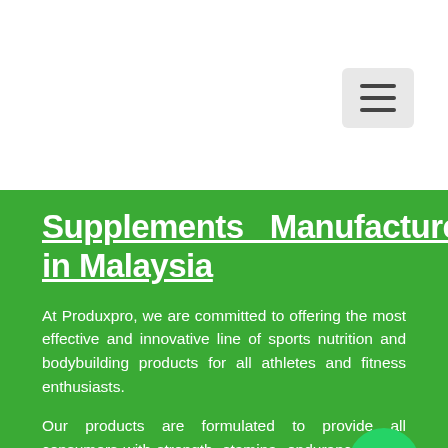Supplements Manufacturer in Malaysia
At Produxpro, we are committed to offering the most effective and innovative line of sports nutrition and bodybuilding products for all athletes and fitness enthusiasts.
Our products are formulated to provide all consumers with strength, stamina, endurance and a healthy diet to achieve their desired fitness results.
Since the inception of Produxpro, our R&D team has dedicated immense time and effort to manufacture